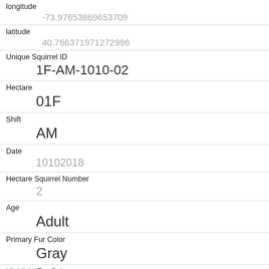longitude
-73.97653869653709
latitude
40.766371971272996
Unique Squirrel ID
1F-AM-1010-02
Hectare
01F
Shift
AM
Date
10102018
Hectare Squirrel Number
2
Age
Adult
Primary Fur Color
Gray
Highlight Fur Color
Combination of Primary and Highlight Color